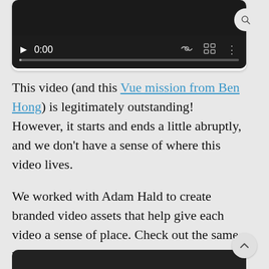[Figure (screenshot): Video player showing time 0:00 with play button, volume icon, fullscreen icon, and more options icon on a dark background. A progress bar is shown below the controls.]
This video (and this Vue mission from Ben Hong) is legitimately outstanding! However, it starts and ends a little abruptly, and we don't have a sense of where this video lives.
We worked with Adam Hald to create branded video assets that help give each video a sense of place. Check out the same video with all the Explorers branding applied:
[Figure (screenshot): Bottom portion of a second video player with dark background, partially visible.]